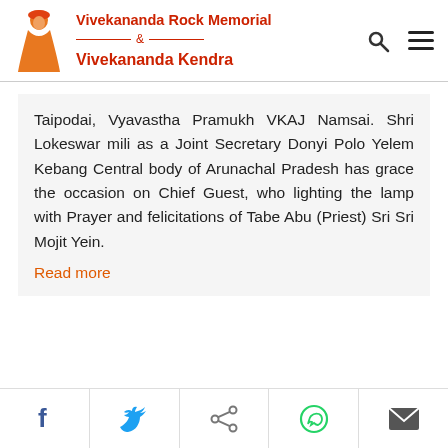Vivekananda Rock Memorial & Vivekananda Kendra
Taipodai, Vyavastha Pramukh VKAJ Namsai. Shri Lokeswar mili as a Joint Secretary Donyi Polo Yelem Kebang Central body of Arunachal Pradesh has grace the occasion on Chief Guest, who lighting the lamp with Prayer and felicitations of Tabe Abu (Priest) Sri Sri Mojit Yein.
Read more